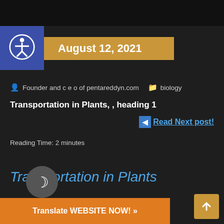August 12, 2021
Founder and c e o of pentareddyn.com   biology
Transportation in Plants, , heading 1
Read Next post!
Reading Time: 2 minutes
Transportation in Plants
Translate WEBSITE NOW! »